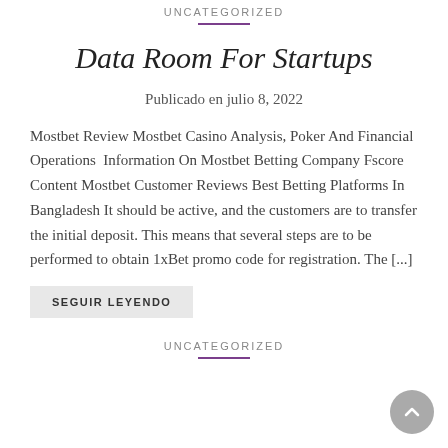UNCATEGORIZED
Data Room For Startups
Publicado en julio 8, 2022
Mostbet Review Mostbet Casino Analysis, Poker And Financial Operations  Information On Mostbet Betting Company Fscore Content Mostbet Customer Reviews Best Betting Platforms In Bangladesh It should be active, and the customers are to transfer the initial deposit. This means that several steps are to be performed to obtain 1xBet promo code for registration. The [...]
SEGUIR LEYENDO
UNCATEGORIZED